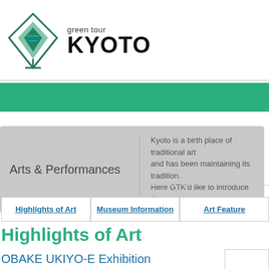[Figure (logo): Green Tour Kyoto logo with diamond/leaf shape and text 'green tour KYOTO']
[Figure (other): Green horizontal banner bar]
Arts & Performances
Kyoto is a birth place of traditional art and has been maintaining its tradition. Here GTK'd like to introduce the mo...
Highlights of Art
Museum Information
Art Feature
Highlights of Art
OBAKE UKIYO-E Exhibition